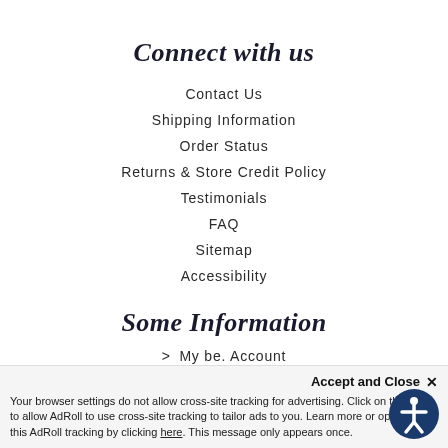Connect with us
Contact Us
Shipping Information
Order Status
Returns & Store Credit Policy
Testimonials
FAQ
Sitemap
Accessibility
Some Information
> My be. Account
be. Points
Accept and Close × Your browser settings do not allow cross-site tracking for advertising. Click on this page to allow AdRoll to use cross-site tracking to tailor ads to you. Learn more or opt out of this AdRoll tracking by clicking here. This message only appears once.